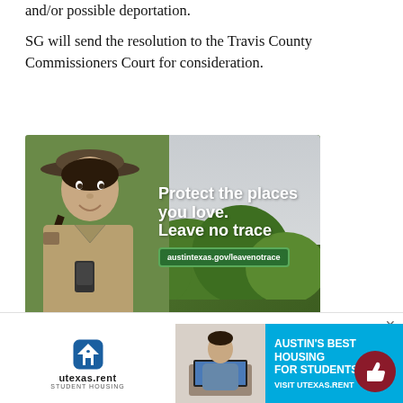and/or possible deportation.
SG will send the resolution to the Travis County Commissioners Court for consideration.
[Figure (photo): Advertisement for Austin Parks & Recreation featuring a park ranger smiling in uniform with a wide-brim hat. Text reads: 'Protect the places you love. Leave no trace' with URL austintexas.gov/leavenotrace and Austin Parks & Recreation / Leave No Trace logos.]
[Figure (photo): Advertisement for utexas.rent student housing with blue background. Shows a person using a laptop. Text reads: AUSTIN'S BEST HOUSING FOR STUDENTS / VISIT UTEXAS.RENT]